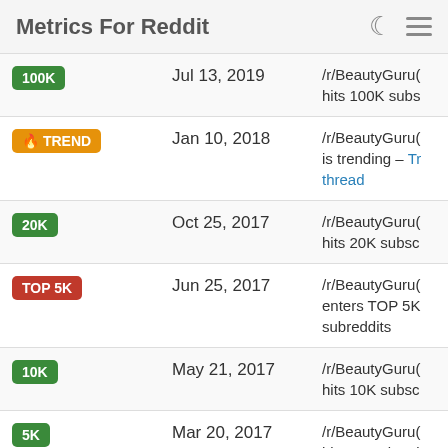Metrics For Reddit
| Badge | Date | Description |
| --- | --- | --- |
| 100K | Jul 13, 2019 | /r/BeautyGuru( hits 100K subs |
| TREND | Jan 10, 2018 | /r/BeautyGuru( is trending – Tr thread |
| 20K | Oct 25, 2017 | /r/BeautyGuru( hits 20K subsc |
| TOP 5K | Jun 25, 2017 | /r/BeautyGuru( enters TOP 5K subreddits |
| 10K | May 21, 2017 | /r/BeautyGuru( hits 10K subsc |
| 5K | Mar 20, 2017 | /r/BeautyGuru( hits 5K subscri |
| TOP 10K | Mar 19, 2017 | /r/BeautyGuru( |